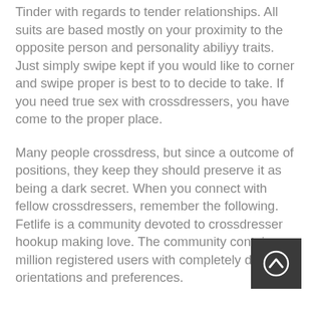Tinder with regards to tender relationships. All suits are based mostly on your proximity to the opposite person and personality abiliyy traits. Just simply swipe kept if you would like to corner and swipe proper is best to to decide to take. If you need true sex with crossdressers, you have come to the proper place.
Many people crossdress, but since a outcome of positions, they keep they should preserve it as being a dark secret. When you connect with fellow crossdressers, remember the following. Fetlife is a community devoted to crossdresser hookup making love. The community contains a million registered users with completely different orientations and preferences.
[Figure (other): A circular scroll-to-top button with a dark grey background and a white upward chevron arrow icon.]